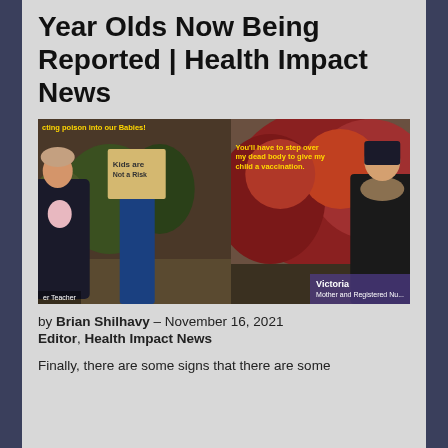Year Olds Now Being Reported | Health Impact News
[Figure (photo): Outdoor protest scene showing women with a baby and a sign reading 'Kids are Not a Risk', with text overlays in yellow reading protest slogans. Right side shows woman in winter coat with name bar 'Victoria, Mother and Registered Nurse'. Bottom left shows 'Teacher' label.]
by Brian Shilhavy – November 16, 2021
Editor, Health Impact News
Finally, there are some signs that there are some